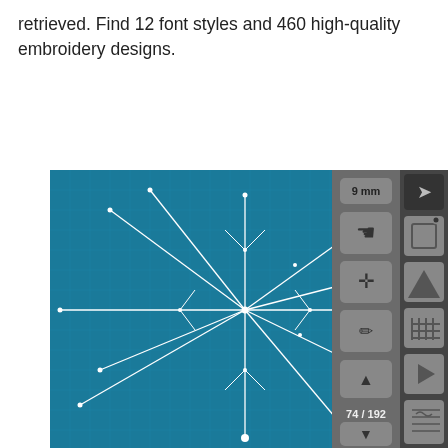retrieved. Find 12 font styles and 460 high-quality embroidery designs.
[Figure (screenshot): Embroidery machine software interface showing a snowflake/star stitch pattern on a blue grid background, with a toolbar on the right side containing icons for hand tool, move tool, pen tool, navigation arrows, and showing stitch count 74/192. A '9 mm' button is displayed at the top of the toolbar.]